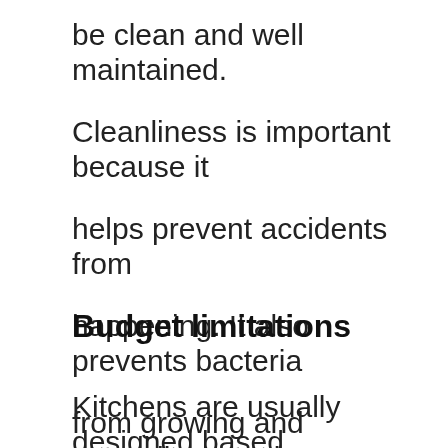be clean and well maintained. Cleanliness is important because it helps prevent accidents from happening. It also prevents bacteria from growing and spreading. Design
Budget limitations
Kitchens are usually designed based